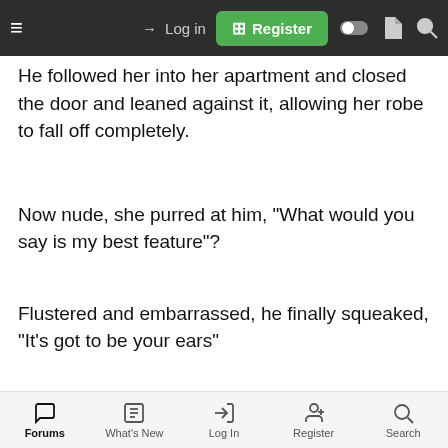≡  → Log in  ⊞ Register
He followed her into her apartment and closed the door and leaned against it, allowing her robe to fall off completely.
Now nude, she purred at him, "What would you say is my best feature"?
Flustered and embarrassed, he finally squeaked, "It's got to be your ears"
Astounded and a little hurt she asked "My ears? Look at
Forums  What's New  Log In  Register  Search